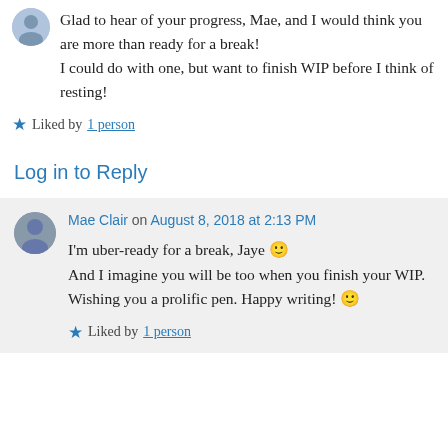[Figure (illustration): Small circular avatar image in top-left corner]
Glad to hear of your progress, Mae, and I would think you are more than ready for a break! I could do with one, but want to finish WIP before I think of resting!
★ Liked by 1 person
Log in to Reply
Mae Clair on August 8, 2018 at 2:13 PM
I'm uber-ready for a break, Jaye 🙂 And I imagine you will be too when you finish your WIP. Wishing you a prolific pen. Happy writing! 🙂
★ Liked by 1 person